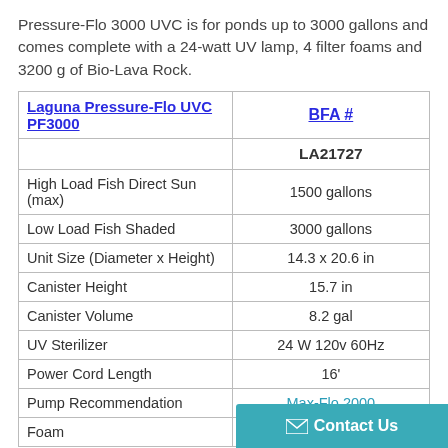Pressure-Flo 3000 UVC is for ponds up to 3000 gallons and comes complete with a 24-watt UV lamp, 4 filter foams and 3200 g of Bio-Lava Rock.
| Laguna Pressure-Flo UVC PF3000 | BFA # |
| --- | --- |
|  | LA21727 |
| High Load Fish Direct Sun (max) | 1500 gallons |
| Low Load Fish Shaded | 3000 gallons |
| Unit Size (Diameter x Height) | 14.3 x 20.6 in |
| Canister Height | 15.7 in |
| Canister Volume | 8.2 gal |
| UV Sterilizer | 24 W 120v 60Hz |
| Power Cord Length | 16' |
| Pump Recommendation | Max-Flo 2000 |
| Foam |  |